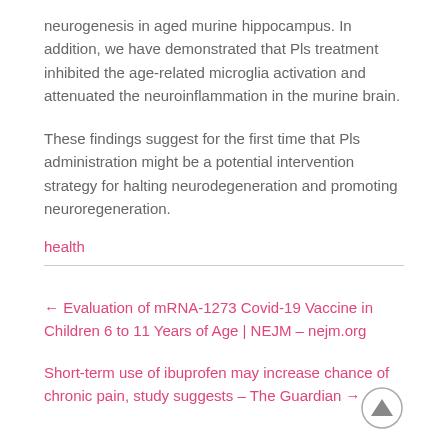neurogenesis in aged murine hippocampus. In addition, we have demonstrated that Pls treatment inhibited the age-related microglia activation and attenuated the neuroinflammation in the murine brain.
These findings suggest for the first time that Pls administration might be a potential intervention strategy for halting neurodegeneration and promoting neuroregeneration.
health
← Evaluation of mRNA-1273 Covid-19 Vaccine in Children 6 to 11 Years of Age | NEJM – nejm.org
Short-term use of ibuprofen may increase chance of chronic pain, study suggests – The Guardian →